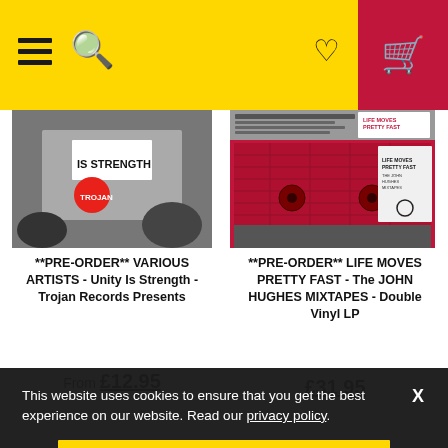Navigation header with menu, search, wishlist, and basket icons
[Figure (photo): Black and white photo showing protest signs with text 'IS STRENGTH' and a Trojan Records logo]
**PRE-ORDER** VARIOUS ARTISTS - Unity Is Strength - Trojan Records Presents
From £12.95
[Figure (photo): Red cassette tape artwork for Life Moves Pretty Fast - The John Hughes Mixtapes]
**PRE-ORDER** LIFE MOVES PRETTY FAST - The JOHN HUGHES MIXTAPES - Double Vinyl LP
£31.95
[Figure (photo): Bottom strip showing album artwork - left: dark portrait photo with letters L A R; right: dark green album image]
This website uses cookies to ensure that you get the best experience on our website. Read our privacy policy.
I accept